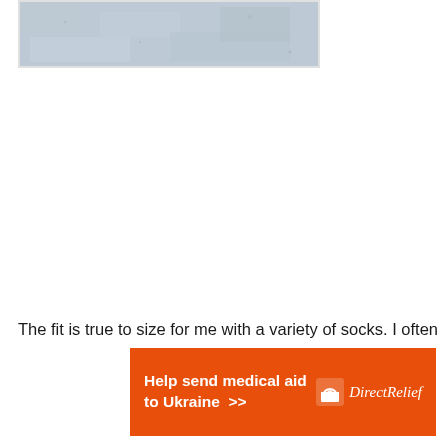[Figure (photo): Partial photo of a snowy or grey textured surface, cut off at the top of the page, shown inside a white-bordered frame]
The fit is true to size for me with a variety of socks. I often
[Figure (infographic): Orange advertisement banner reading 'Help send medical aid to Ukraine >>' with Direct Relief logo on the right]